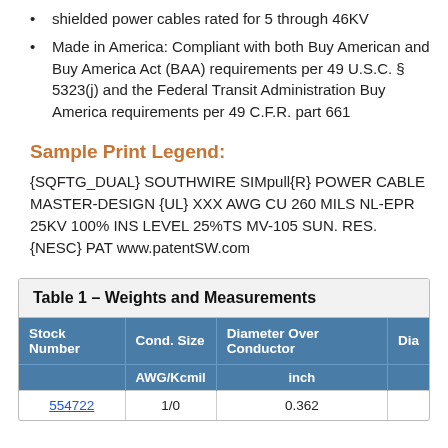shielded power cables rated for 5 through 46KV
Made in America: Compliant with both Buy American and Buy America Act (BAA) requirements per 49 U.S.C. § 5323(j) and the Federal Transit Administration Buy America requirements per 49 C.F.R. part 661
Sample Print Legend:
{SQFTG_DUAL} SOUTHWIRE SIMpull{R} POWER CABLE MASTER-DESIGN {UL} XXX AWG CU 260 MILS NL-EPR 25KV 100% INS LEVEL 25%TS MV-105 SUN. RES. {NESC} PAT www.patentSW.com
| Stock Number | Cond. Size | Diameter Over Conductor | Dia |
| --- | --- | --- | --- |
|  | AWG/Kcmil | inch |  |
| 554722 | 1/0 | 0.362 |  |